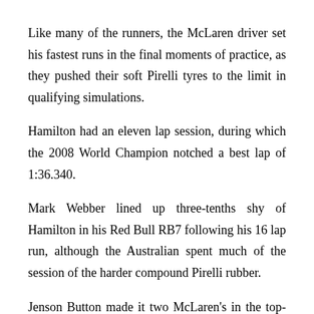Like many of the runners, the McLaren driver set his fastest runs in the final moments of practice, as they pushed their soft Pirelli tyres to the limit in qualifying simulations.
Hamilton had an eleven lap session, during which the 2008 World Champion notched a best lap of 1:36.340.
Mark Webber lined up three-tenths shy of Hamilton in his Red Bull RB7 following his 16 lap run, although the Australian spent much of the session of the harder compound Pirelli rubber.
Jenson Button made it two McLaren's in the top-three, with Nick Heidfeld (Renault) registering the 4th best time.
Webber's Red Bull team-mate Sebastian Vettel finished...